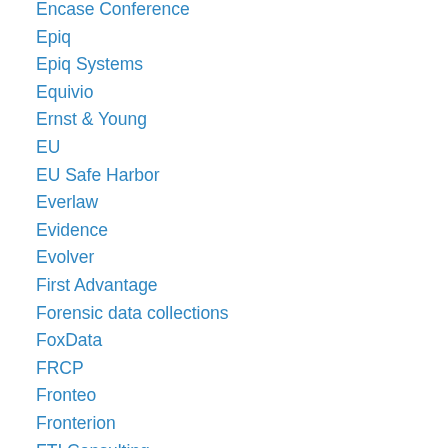Encase Conference
Epiq
Epiq Systems
Equivio
Ernst & Young
EU
EU Safe Harbor
Everlaw
Evidence
Evolver
First Advantage
Forensic data collections
FoxData
FRCP
Fronteo
Fronterion
FTI Consulting
FTI Technology
GDPR
Gravity Stack